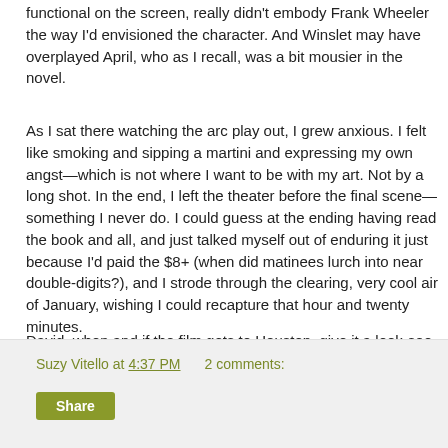functional on the screen, really didn't embody Frank Wheeler the way I'd envisioned the character. And Winslet may have overplayed April, who as I recall, was a bit mousier in the novel.
As I sat there watching the arc play out, I grew anxious. I felt like smoking and sipping a martini and expressing my own angst—which is not where I want to be with my art. Not by a long shot. In the end, I left the theater before the final scene—something I never do. I could guess at the ending having read the book and all, and just talked myself out of enduring it just because I'd paid the $8+ (when did matinees lurch into near double-digits?), and I strode through the clearing, very cool air of January, wishing I could recapture that hour and twenty minutes.
David, when and if the film gets to Houston, give it a look-see and tell me what you think.
Suzy Vitello at 4:37 PM    2 comments:   Share